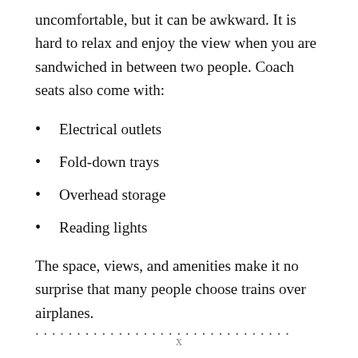uncomfortable, but it can be awkward. It is hard to relax and enjoy the view when you are sandwiched in between two people. Coach seats also come with:
Electrical outlets
Fold-down trays
Overhead storage
Reading lights
The space, views, and amenities make it no surprise that many people choose trains over airplanes.
...
x